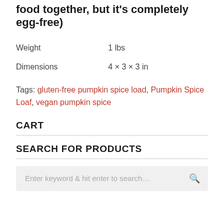food together, but it's completely egg-free)
| Weight | 1 lbs |
| Dimensions | 4 × 3 × 3 in |
Tags: gluten-free pumpkin spice load, Pumpkin Spice Loaf, vegan pumpkin spice
CART
SEARCH FOR PRODUCTS
Enter keyword & hit enter to search…